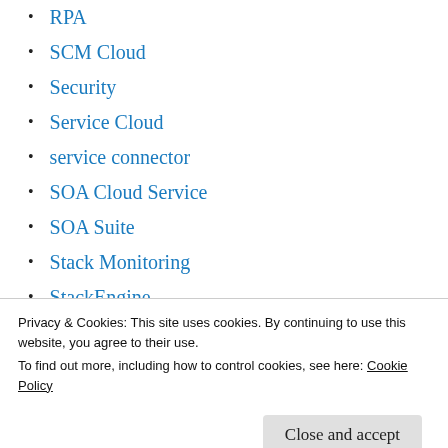RPA
SCM Cloud
Security
Service Cloud
service connector
SOA Cloud Service
SOA Suite
Stack Monitoring
StackEngine
Storage Cloud Service
Testing
Privacy & Cookies: This site uses cookies. By continuing to use this website, you agree to their use. To find out more, including how to control cookies, see here: Cookie Policy
VisualBuilder